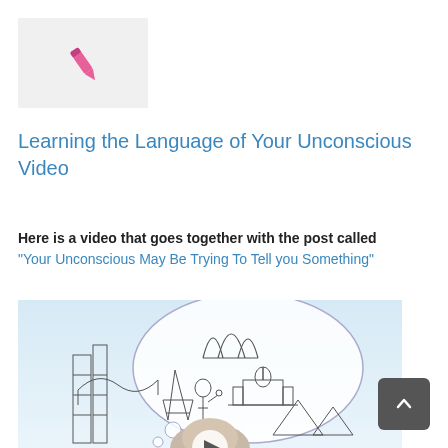[Figure (logo): Pink pen/quill icon on light gray background box]
Learning the Language of Your Unconscious Video
Here is a video that goes together with the post called "Your Unconscious May Be Trying To Tell you Something"
[Figure (photo): Illustrated sketch image showing world landmarks (Sydney Opera House, Eiffel Tower, Taj Mahal, Statue of Liberty, pyramids, skyscrapers) in a thought bubble above a person's head, suggesting imagination or unconscious thought]